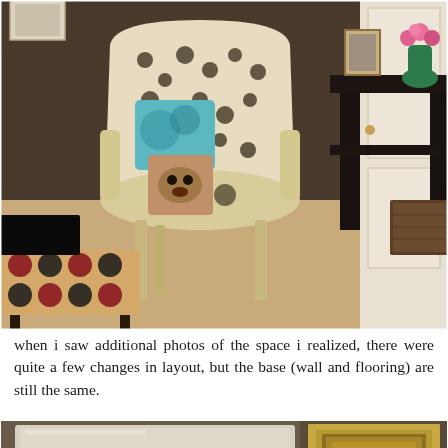[Figure (photo): Interior living room photo showing a leopard-print armchair with decorative pillows (one with a dog portrait, one turquoise), a polka-dot ottoman, a dark console table with framed photos and a green vase with pink flowers, cream wainscoting on the right wall, and beige carpet flooring.]
when i saw additional photos of the space i realized, there were quite a few changes in layout, but the base (wall and flooring) are still the same.
[Figure (photo): Partial interior photo showing a light-colored surface (likely a table or countertop) with a gold-framed mirror or artwork visible on the right side, against a taupe/brown wall background.]